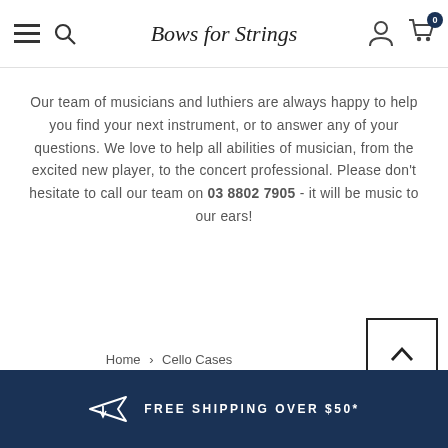Bows for Strings
Our team of musicians and luthiers are always happy to help you find your next instrument, or to answer any of your questions. We love to help all abilities of musician, from the excited new player, to the concert professional. Please don't hesitate to call our team on 03 8802 7905 - it will be music to our ears!
Home > Cello Cases
FREE SHIPPING OVER $50*